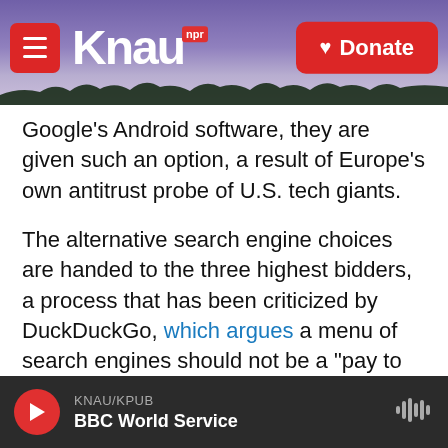KNAU NPR / Donate
Google's Android software, they are given such an option, a result of Europe's own antitrust probe of U.S. tech giants.
The alternative search engine choices are handed to the three highest bidders, a process that has been criticized by DuckDuckGo, which argues a menu of search engines should not be a "pay to play" arrangement. Instead, DuckDuckGo says consumers should be able to choose whatever Google rival they want, without the company having to pony up big money for the privilege of being an option.
KNAU/KPUB BBC World Service